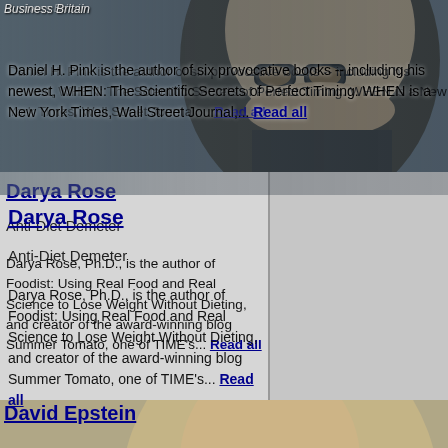Business Britain
Daniel H. Pink is the author of six provocative books -- including his newest, WHEN: The Scientific Secrets of Perfect Timing. WHEN is a New York Times, Wall Street Journal,... Read all
[Figure (photo): Photo of Daniel H. Pink wearing glasses against a dark background]
Darya Rose
Anti-Diet Demeter
Darya Rose, Ph.D., is the author of Foodist: Using Real Food and Real Science to Lose Weight Without Dieting, and creator of the award-winning blog Summer Tomato, one of TIME's... Read all
David Epstein
Heleo Influence...
David Epstein is the author of the New York Times bestseller The Sports Gene: Inside the Science of Extraordinary Athletic Performance, which has been translated into 17 languages. He... Read all
[Figure (photo): Photo of David Epstein smiling against a decorative background]